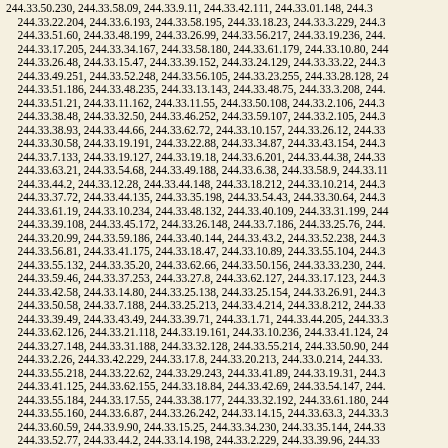244.33.50.230, 244.33.58.09, 244.33.9.11, 244.33.42.111, 244.33.01.148, 244.33.22.204, 244.33.6.193, 244.33.58.195, 244.33.18.23, 244.33.3.229, 244.33.51.60, 244.33.48.199, 244.33.26.99, 244.33.56.217, 244.33.19.236, 244.33.17.205, 244.33.34.167, 244.33.58.180, 244.33.61.179, 244.33.10.80, 244.33.26.48, 244.33.15.47, 244.33.39.152, 244.33.24.129, 244.33.33.22, 244.33.49.251, 244.33.52.248, 244.33.56.105, 244.33.23.255, 244.33.28.128, 244.33.51.186, 244.33.48.235, 244.33.13.143, 244.33.48.75, 244.33.3.208, 244.33.51.21, 244.33.11.162, 244.33.11.55, 244.33.50.108, 244.33.2.106, 244.33.38.48, 244.33.32.50, 244.33.46.252, 244.33.59.107, 244.33.2.105, 244.33.38.93, 244.33.44.66, 244.33.62.72, 244.33.10.157, 244.33.26.12, 244.33.30.58, 244.33.19.191, 244.33.22.88, 244.33.34.87, 244.33.43.154, 244.33.7.133, 244.33.19.127, 244.33.19.18, 244.33.6.201, 244.33.44.38, 244.33.63.21, 244.33.54.68, 244.33.49.188, 244.33.6.38, 244.33.58.9, 244.33.11, 244.33.44.2, 244.33.12.28, 244.33.44.148, 244.33.18.212, 244.33.10.214, 244.33.37.72, 244.33.44.135, 244.33.35.198, 244.33.54.43, 244.33.30.64, 244.33.61.19, 244.33.10.234, 244.33.48.132, 244.33.40.109, 244.33.31.199, 244.33.39.108, 244.33.45.172, 244.33.26.148, 244.33.7.186, 244.33.25.76, 244.33.20.99, 244.33.59.186, 244.33.40.144, 244.33.43.2, 244.33.52.238, 244.33.56.81, 244.33.41.175, 244.33.18.47, 244.33.10.89, 244.33.55.104, 244.33.55.132, 244.33.35.20, 244.33.62.66, 244.33.50.156, 244.33.33.230, 244.33.59.46, 244.33.37.253, 244.33.27.8, 244.33.62.127, 244.33.17.123, 244.33.42.58, 244.33.14.80, 244.33.25.138, 244.33.25.154, 244.33.26.91, 244.33.50.58, 244.33.7.188, 244.33.25.213, 244.33.4.214, 244.33.8.212, 244.33.39.49, 244.33.43.49, 244.33.39.71, 244.33.1.71, 244.33.44.205, 244.33.3, 244.33.62.126, 244.33.21.118, 244.33.19.161, 244.33.10.236, 244.33.41.124, 244.33.27.148, 244.33.31.188, 244.33.32.128, 244.33.55.214, 244.33.50.90, 244.33.2.26, 244.33.42.229, 244.33.17.8, 244.33.20.213, 244.33.0.214, 244.33.55.218, 244.33.22.62, 244.33.29.243, 244.33.41.89, 244.33.19.31, 244.33.41.125, 244.33.62.155, 244.33.18.84, 244.33.42.69, 244.33.54.147, 244.33.55.184, 244.33.17.55, 244.33.38.177, 244.33.32.192, 244.33.61.180, 244.33.55.160, 244.33.6.87, 244.33.26.242, 244.33.14.15, 244.33.63.3, 244.33.60.59, 244.33.9.90, 244.33.15.25, 244.33.34.230, 244.33.35.144, 244.33.244.33.52.77, 244.33.44.2, 244.33.14.198, 244.33.2.229, 244.33.39.96, 244.33